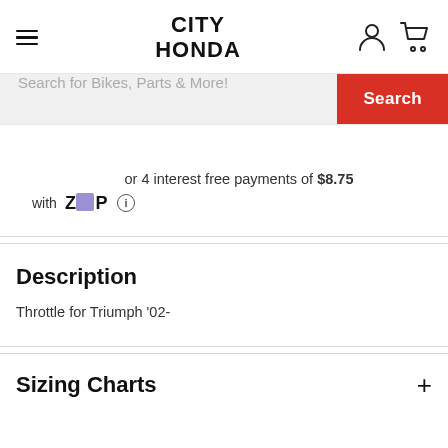CITY HONDA
Search for Bikes, Parts & More!
or 4 interest free payments of $8.75 with Zip
Description
Throttle for Triumph '02-
Sizing Charts